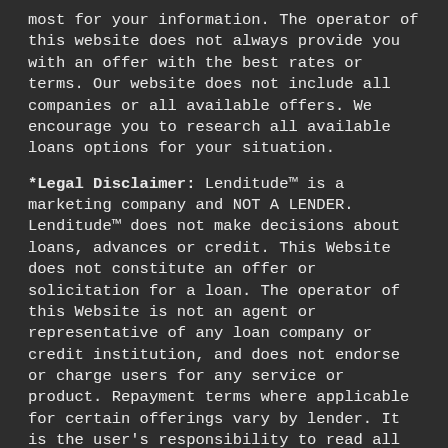most for your information. The operator of this website does not always provide you with an offer with the best rates or terms. Our website does not include all companies or all available offers. We encourage you to research all available loans options for your situation.
*Legal Disclaimer: Lenditude™ is a marketing company and NOT A LENDER. Lenditude™ does not make decisions about loans, advances or credit. This Website does not constitute an offer or solicitation for a loan. The operator of this Website is not an agent or representative of any loan company or credit institution, and does not endorse or charge users for any service or product. Repayment terms where applicable for certain offerings vary by lender. It is the user's responsibility to read all third party lender website disclaimers and offer restrictions before proceeding. Completing an application does not guarantee that you will qualify for a specific product. Rates and terms are provider-specific. Offer not available in all states. Lenditude™ does not broker loans to lenders and does...